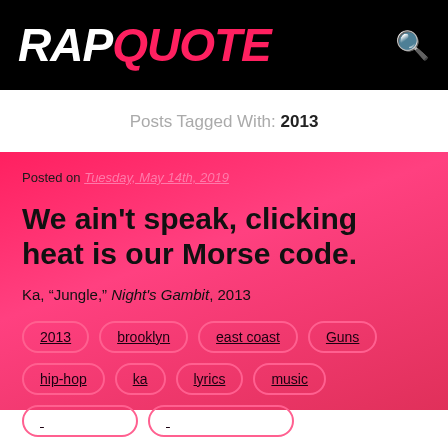RAPQUOTE
Posts Tagged With: 2013
Posted on Tuesday, May 14th, 2019
We ain't speak, clicking heat is our Morse code.
Ka, "Jungle," Night's Gambit, 2013
2013
brooklyn
east coast
Guns
hip-hop
ka
lyrics
music